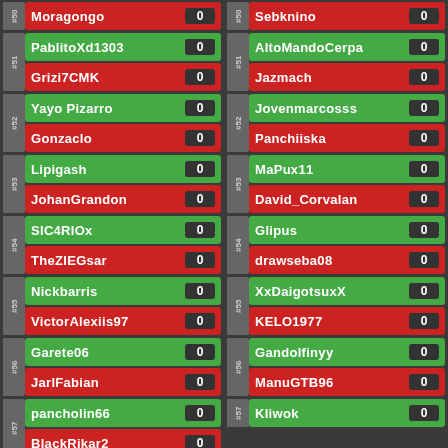| Rank | Player | Score |
| --- | --- | --- |
| #50 | Moragongo | 0 |
| #50 | (right col) Sebknino | 0 |
| #51 | PablitoXd1303 | 0 |
| #51 | Grizi7CMK | 0 |
| #51 | AltoMandoCerpa | 0 |
| #51 | Jazmach | 0 |
| #52 | Yayo Pizarro | 0 |
| #52 | Gonzaclo | 0 |
| #52 | Jovenmarcosss | 0 |
| #52 | Panchiiska | 0 |
| #53 | Lipigash | 0 |
| #53 | JohanGrandon | 0 |
| #53 | MaPux11 | 0 |
| #53 | David_Corvalan | 0 |
| #54 | SIC4RIOx | 0 |
| #54 | TheZIEGsar | 0 |
| #54 | Glipus | 0 |
| #54 | drawseba08 | 0 |
| #55 | Nickbarris | 0 |
| #55 | VictorAlexiis97 | 0 |
| #55 | XxDaigotsuxX | 0 |
| #55 | KELO1977 | 0 |
| #56 | Garete06 | 0 |
| #56 | JarlFabian | 0 |
| #56 | Gandolfinyy | 0 |
| #56 | ManuGTB96 | 0 |
| #57 | pancholin66 | 0 |
| #57 | BlackRikar2 | 0 |
| #57 | Kliwok | 0 |